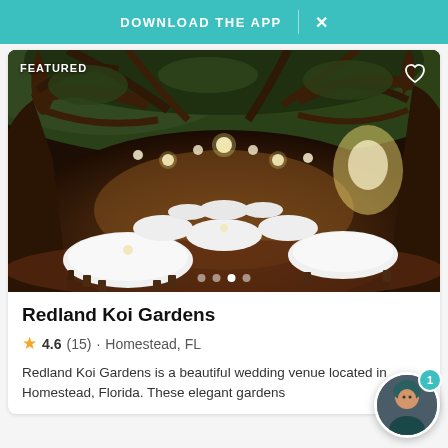DOWNLOAD THE APP  X
[Figure (photo): Outdoor wedding venue at night under large trees strung with globe lights, featuring round tables with white linens and dark wood chiavari chairs arranged in rows.]
Redland Koi Gardens
4.6 (15) · Homestead, FL
Redland Koi Gardens is a beautiful wedding venue located in Homestead, Florida. These elegant gardens